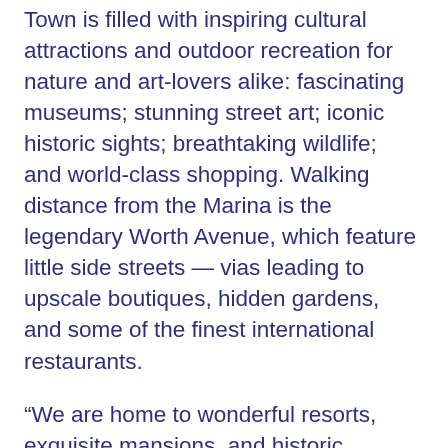Town is filled with inspiring cultural attractions and outdoor recreation for nature and art-lovers alike: fascinating museums; stunning street art; iconic historic sights; breathtaking wildlife; and world-class shopping. Walking distance from the Marina is the legendary Worth Avenue, which feature little side streets — vias leading to upscale boutiques, hidden gardens, and some of the finest international restaurants.
“We are home to wonderful resorts, exquisite mansions, and historic landmarks, and are now excited to add the Town Marina to the list of reasons why there is no place quite like Palm Beach,” says Carolyn Stone, Assistant Town Manager.
At the newly updated and scenic Lake Drive Park, adjacent to the Marina, be sure to stroll along the winding path, or perhaps you could bike along the...